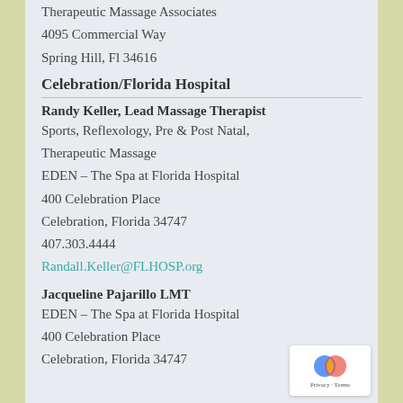Therapeutic Massage Associates
4095 Commercial Way
Spring Hill, Fl 34616
Celebration/Florida Hospital
Randy Keller, Lead Massage Therapist
Sports, Reflexology, Pre & Post Natal, Therapeutic Massage
EDEN – The Spa at Florida Hospital
400 Celebration Place
Celebration, Florida 34747
407.303.4444
Randall.Keller@FLHOSP.org
Jacqueline Pajarillo LMT
EDEN – The Spa at Florida Hospital
400 Celebration Place
Celebration, Florida 34747